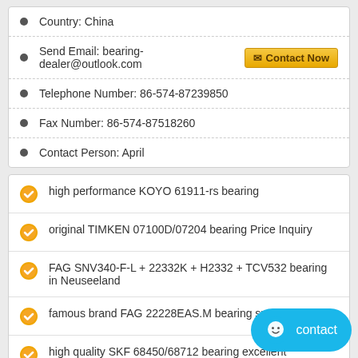Country: China
Send Email: bearing-dealer@outlook.com  [Contact Now]
Telephone Number: 86-574-87239850
Fax Number: 86-574-87518260
Contact Person: April
high performance KOYO 61911-rs bearing
original TIMKEN 07100D/07204 bearing Price Inquiry
FAG SNV340-F-L + 22332K + H2332 + TCV532 bearing in Neuseeland
famous brand FAG 22228EAS.M bearing supply in USA
high quality SKF 68450/68712 bearing excellent